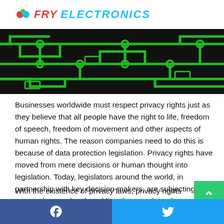Fry Electronics
[Figure (illustration): Green circuit board traces on black background, decorative banner image for Fry Electronics website]
Businesses worldwide must respect privacy rights just as they believe that all people have the right to life, freedom of speech, freedom of movement and other aspects of human rights. The reason companies need to do this is because of data protection legislation. Privacy rights have moved from mere decisions or human thought into legislation. Today, legislators around the world, in partnership with key decision-makers, are subjecting companies to rules that oblige them to show due respect to customers.
With the existence of privacy laws, privacy rights are still somehow inconsistent. For example, the CCPA (California
Facebook  Twitter